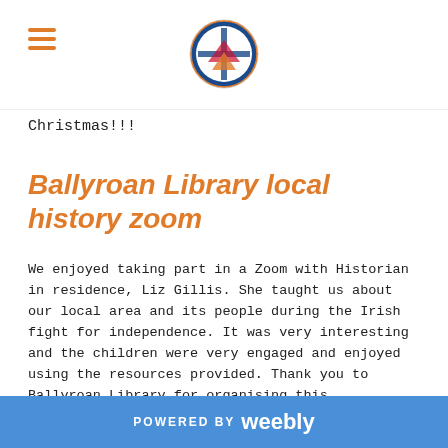Christmas!!!
Ballyroan Library local history zoom
We enjoyed taking part in a Zoom with Historian in residence, Liz Gillis.  She taught us about our local area and its people during the Irish fight for independence. It was very interesting and the children were very engaged and enjoyed using the resources provided. Thank you to Ballyroan Library for organising this.
POWERED BY weebly